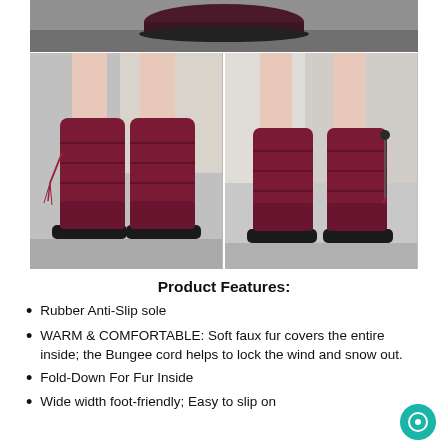[Figure (photo): Top portion showing a dark boot on a grey surface]
[Figure (photo): Two side-by-side photos of dark maroon/burgundy women's winter snow boots with tassel zipper detail; left photo shows front/side view, right photo shows back view. Grey carpet background.]
Product Features:
Rubber Anti-Slip sole
WARM & COMFORTABLE: Soft faux fur covers the entire inside; the Bungee cord helps to lock the wind and snow out.
Fold-Down For Fur Inside
Wide width foot-friendly; Easy to slip on